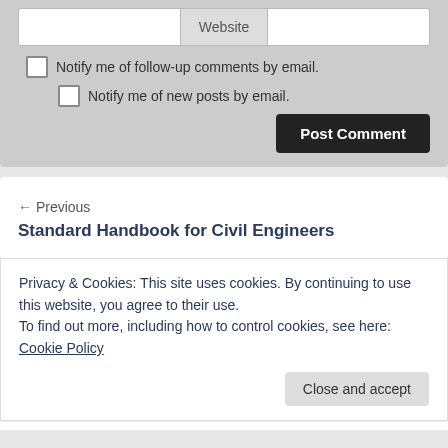Website
Notify me of follow-up comments by email.
Notify me of new posts by email.
Post Comment
← Previous
Standard Handbook for Civil Engineers
Privacy & Cookies: This site uses cookies. By continuing to use this website, you agree to their use.
To find out more, including how to control cookies, see here: Cookie Policy
Close and accept